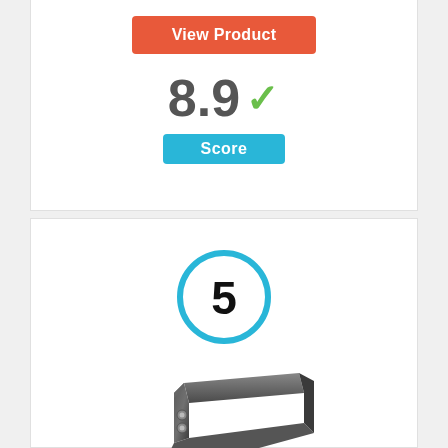[Figure (other): Orange 'View Product' button at top of card]
8.9 ✓
Score
[Figure (other): Rank badge circle with number 5 inside, blue ring]
[Figure (photo): Photo of Black & Decker 90559117 Blade product - dark metal angle bracket piece]
Black & Decker 90559117 Blade
By BLACK+DECKER
[Figure (other): Orange 'View Product' button at bottom of second card (partially visible)]